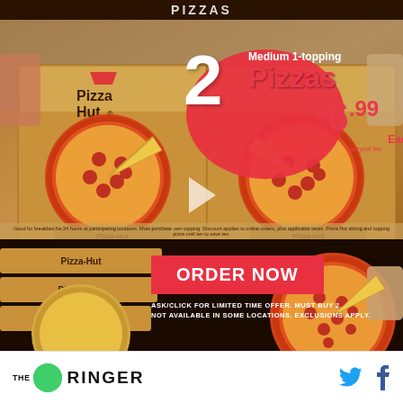[Figure (photo): Pizza Hut advertisement showing two open pizza boxes with pepperoni pizzas, promotional text '2 Medium 1-topping Pizzas $6.99 Each Carryout fee', brick wall background]
Medium 1-topping
2 Pizzas
$6.99 Each Carryout fee
Good for breakfast for 24 hours at participating locations. Must purchase own topping. Discount applies to online orders, plus additional charge. Pizza Hut slicing and topping pizza until ten to save.
[Figure (photo): Pizza Hut ORDER NOW section showing pizza boxes with logo and a large pepperoni pizza]
ORDER NOW
ASK/CLICK FOR LIMITED TIME OFFER. MUST BUY 2. NOT AVAILABLE IN SOME LOCATIONS. EXCLUSIONS APPLY.
[Figure (logo): The Ringer logo with green circle and social media icons (Twitter bird and Facebook f)]